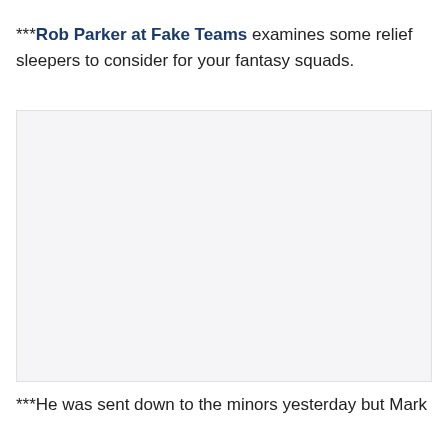***Rob Parker at Fake Teams examines some relief sleepers to consider for your fantasy squads.
[Figure (other): A mostly blank/white image placeholder region]
***He was sent down to the minors yesterday but Mark